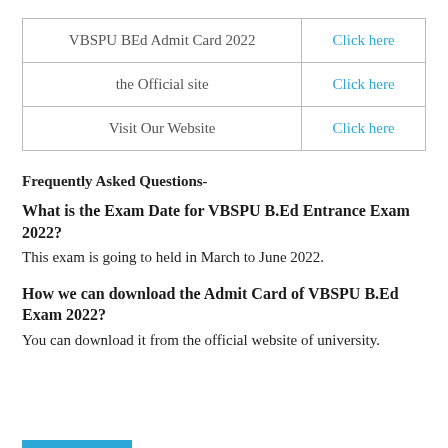|  |  |
| --- | --- |
| VBSPU BEd Admit Card 2022 | Click here |
| the Official site | Click here |
| Visit Our Website | Click here |
Frequently Asked Questions-
What is the Exam Date for VBSPU B.Ed Entrance Exam 2022?
This exam is going to held in March to June 2022.
How we can download the Admit Card of VBSPU B.Ed Exam 2022?
You can download it from the official website of university.